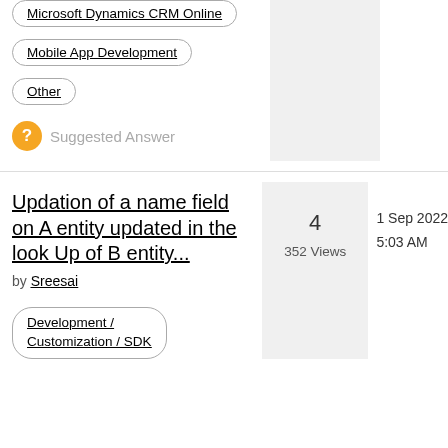Microsoft Dynamics CRM Online
Mobile App Development
Other
Suggested Answer
Updation of a name field on A entity updated in the look Up of B entity...
by Sreesai
4
352 Views
1 Sep 2022
5:03 AM
Development / Customization / SDK